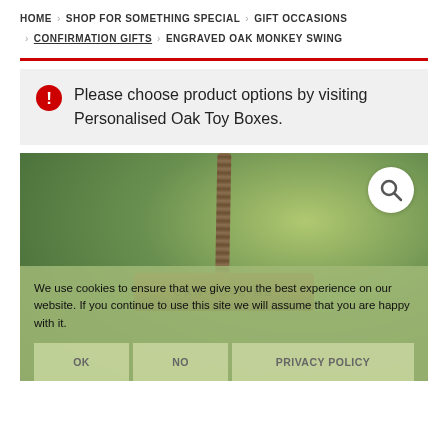HOME > SHOP FOR SOMETHING SPECIAL > GIFT OCCASIONS > CONFIRMATION GIFTS > ENGRAVED OAK MONKEY SWING
Please choose product options by visiting Personalised Oak Toy Boxes.
[Figure (photo): Engraved oak monkey swing hanging by rope, with engraved text on the wooden seat, photographed outdoors against a blurred green background. A magnifying glass search icon button is visible in the upper right corner.]
We use cookies to ensure that we give you the best experience on our website. If you continue to use this site we will assume that you are happy with it. OK NO PRIVACY POLICY